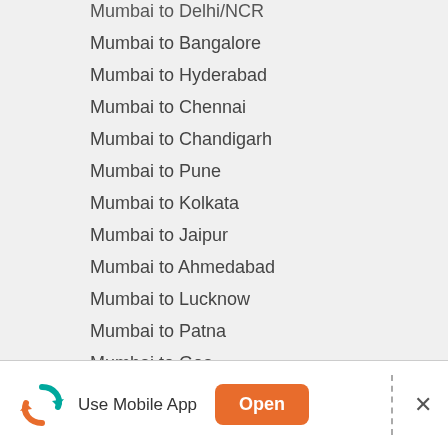Mumbai to Delhi/NCR
Mumbai to Bangalore
Mumbai to Hyderabad
Mumbai to Chennai
Mumbai to Chandigarh
Mumbai to Pune
Mumbai to Kolkata
Mumbai to Jaipur
Mumbai to Ahmedabad
Mumbai to Lucknow
Mumbai to Patna
Mumbai to Goa
Packers and Movers in Bangalore
Bangalore to Delhi/NCR
Bangalore to Chennai